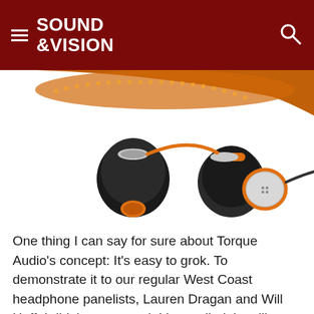SOUND &VISION
[Figure (photo): Orange and black in-ear headphones (earbuds) with an orange carrying case, displayed on a white background. The earbuds have orange accents and black silicone ear tips.]
One thing I can say for sure about Torque Audio's concept: It's easy to grok. To demonstrate it to our regular West Coast headphone panelists, Lauren Dragan and Will Huff, I didn't say a word. I just pulled the silicone tip off one earpiece, twisted the filter off, pulled a different filter off the TorqueValet and